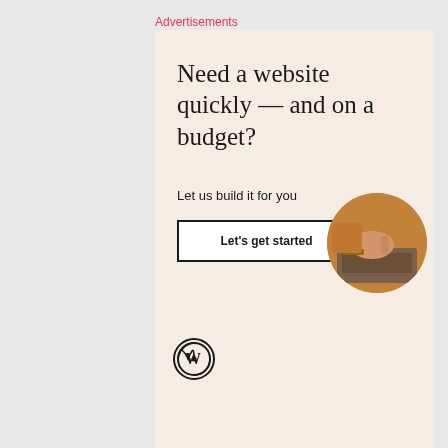Advertisements
[Figure (illustration): WordPress advertisement: 'Need a website quickly — and on a budget? Let us build it for you' with a Let's get started button, WordPress logo, and circular photo of hands on laptop]
April 11, 2017  /  2 Comments
Advertisements
[Figure (illustration): DuckDuckGo advertisement: 'Search, browse, and email with more privacy. All in One Free App' on orange background with DuckDuckGo logo on dark background]